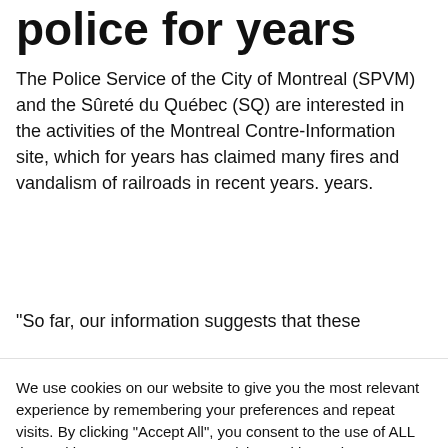police for years
The Police Service of the City of Montreal (SPVM) and the Sûreté du Québec (SQ) are interested in the activities of the Montreal Contre-Information site, which for years has claimed many fires and vandalism of railroads in recent years. years.
“So far, our information suggests that these
We use cookies on our website to give you the most relevant experience by remembering your preferences and repeat visits. By clicking “Accept All”, you consent to the use of ALL the cookies. However, you may visit "Cookie Settings" to provide a controlled consent.